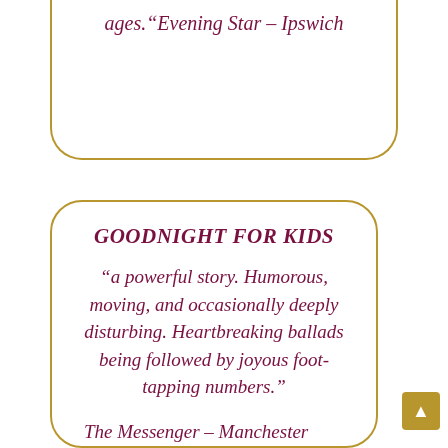ages.“Evening Star – Ipswich
GOODNIGHT FOR KIDS
“a powerful story. Humorous, moving, and occasionally deeply disturbing. Heartbreaking ballads being followed by joyous foot-tapping numbers.”
The Messenger – Manchester
“tender and humorous, with an extremely serious undercurrent…